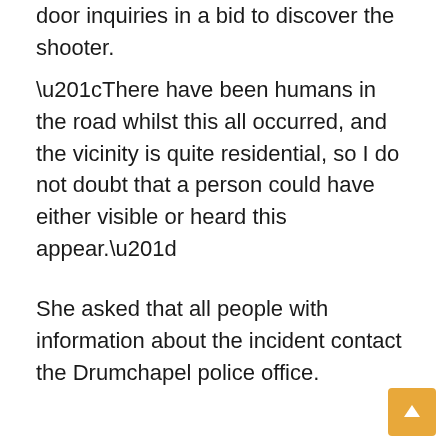door inquiries in a bid to discover the shooter.
“There have been humans in the road whilst this all occurred, and the vicinity is quite residential, so I do not doubt that a person could have either visible or heard this appear.”
She asked that all people with information about the incident contact the Drumchapel police office.